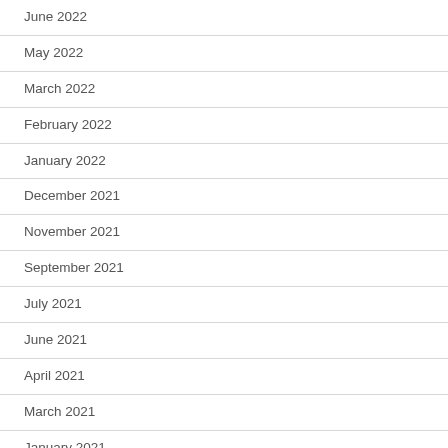June 2022
May 2022
March 2022
February 2022
January 2022
December 2021
November 2021
September 2021
July 2021
June 2021
April 2021
March 2021
January 2021
December 2020